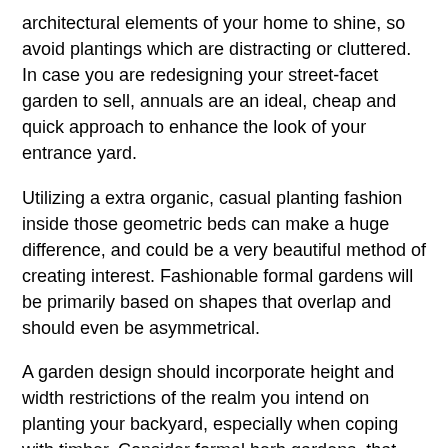architectural elements of your home to shine, so avoid plantings which are distracting or cluttered. In case you are redesigning your street-facet garden to sell, annuals are an ideal, cheap and quick approach to enhance the look of your entrance yard.
Utilizing a extra organic, casual planting fashion inside those geometric beds can make a huge difference, and could be a very beautiful method of creating interest. Fashionable formal gardens will be primarily based on shapes that overlap and should even be asymmetrical.
A garden design should incorporate height and width restrictions of the realm you intend on planting your backyard, especially when coping with timber. Consider formal herb gardens, that are laid out on a sq. or circular theme with paths bisecting them into equal-sized segments, and conventional double borders – two parallel borders planted with herbaceous flowers and a straight path between them.